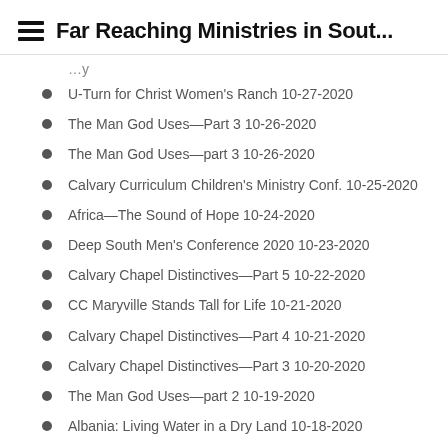Far Reaching Ministries in Sout...
U-Turn for Christ Women's Ranch 10-27-2020
The Man God Uses—Part 3 10-26-2020
The Man God Uses—part 3 10-26-2020
Calvary Curriculum Children's Ministry Conf. 10-25-2020
Africa—The Sound of Hope 10-24-2020
Deep South Men's Conference 2020 10-23-2020
Calvary Chapel Distinctives—Part 5 10-22-2020
CC Maryville Stands Tall for Life 10-21-2020
Calvary Chapel Distinctives—Part 4 10-21-2020
Calvary Chapel Distinctives—Part 3 10-20-2020
The Man God Uses—part 2 10-19-2020
Albania: Living Water in a Dry Land 10-18-2020
Calvary Church Albuquerque 10-17-2020